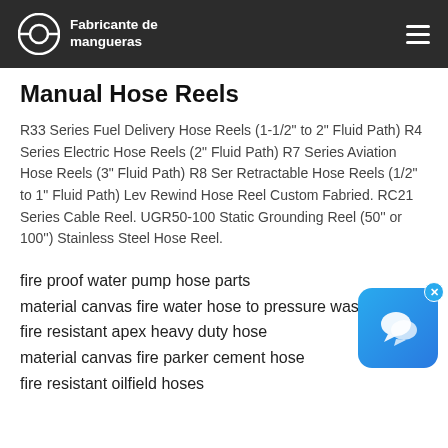Fabricante de mangueras
Manual Hose Reels
R33 Series Fuel Delivery Hose Reels (1-1/2" to 2" Fluid Path) R4 Series Electric Hose Reels (2" Fluid Path) R7 Series Aviation Hose Reels (3" Fluid Path) R8 Ser Retractable Hose Reels (1/2" to 1" Fluid Path) Lev Rewind Hose Reel Custom Fabried. RC21 Series Cable Reel. UGR50-100 Static Grounding Reel (50'' or 100'') Stainless Steel Hose Reel.
fire proof water pump hose parts
material canvas fire water hose to pressure washer
fire resistant apex heavy duty hose
material canvas fire parker cement hose
fire resistant oilfield hoses